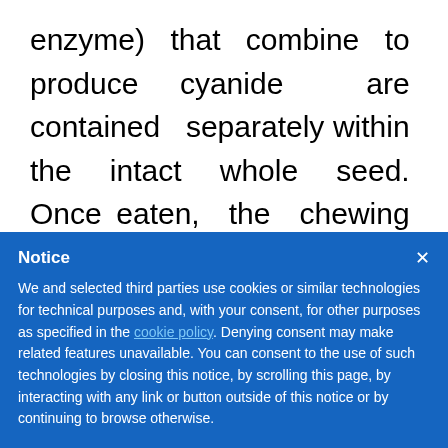enzyme) that combine to produce cyanide are contained separately within the intact whole seed. Once eaten, the chewing action grinding the seeds can allow for cyanide production, but it is thought that this is
Notice
We and selected third parties use cookies or similar technologies for technical purposes and, with your consent, for other purposes as specified in the cookie policy. Denying consent may make related features unavailable. You can consent to the use of such technologies by closing this notice, by scrolling this page, by interacting with any link or button outside of this notice or by continuing to browse otherwise.